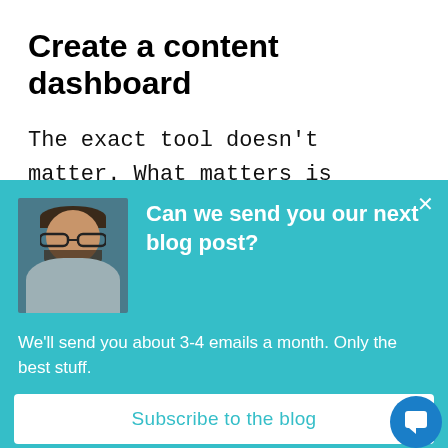Create a content dashboard
The exact tool doesn’t matter. What matters is setting up the report, so the data is easy to understand and pleasing
[Figure (screenshot): Email subscription popup overlay with teal background. Shows a photo of a smiling man with glasses and beard, a bold white headline 'Can we send you our next blog post?', subtext 'We’ll send you about 3-4 emails a month. Only the best stuff.', a white 'Subscribe to the blog' button, a close (x) button, and a blue chat icon in the bottom right.]